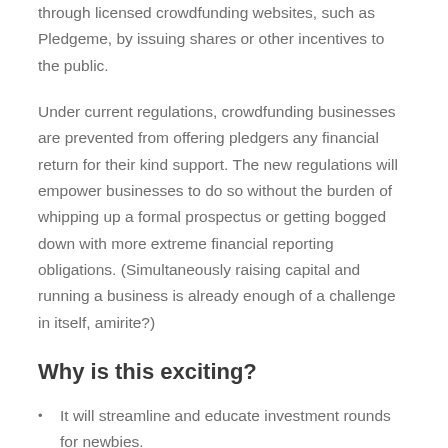through licensed crowdfunding websites, such as Pledgeme, by issuing shares or other incentives to the public.
Under current regulations, crowdfunding businesses are prevented from offering pledgers any financial return for their kind support. The new regulations will empower businesses to do so without the burden of whipping up a formal prospectus or getting bogged down with more extreme financial reporting obligations. (Simultaneously raising capital and running a business is already enough of a challenge in itself, amirite?)
Why is this exciting?
It will streamline and educate investment rounds for newbies.
It moves investment from just a strategic play for the angel